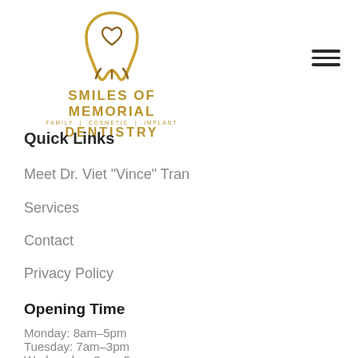[Figure (logo): Smiles of Memorial Family | Cosmetic | Implant Dentistry dental practice logo with golden tooth and heart icon]
Quick Links
Meet Dr. Viet "Vince" Tran
Services
Contact
Privacy Policy
Opening Time
Monday: 8am–5pm
Tuesday: 7am–3pm
Wednesday: 8am–5pm